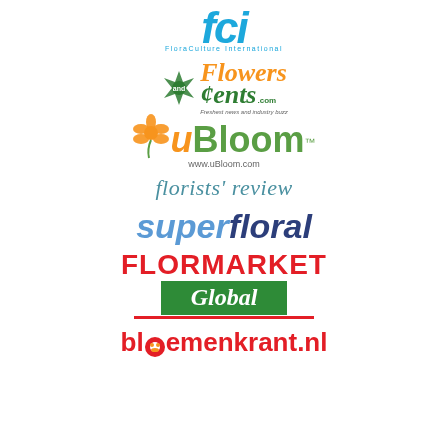[Figure (logo): FCI FloraCulture International logo in blue italic text]
[Figure (logo): Flowers and Cents logo with orange Flowers text, green cents text, and green flower icon]
[Figure (logo): uBloom logo with orange flower icon and green text, www.uBloom.com url]
[Figure (logo): florists review logo in teal italic serif text]
[Figure (logo): superfloral logo in blue bold italic text]
[Figure (logo): FLORMARKET Global logo with red caps text and green box Global]
[Figure (logo): bloemenkrant.nl logo in red bold text with circular flower icon replacing the o]